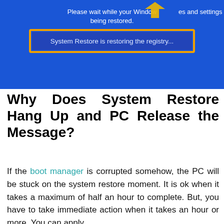[Figure (screenshot): Screenshot of a Windows System Restore screen with blue background. White text at top reads 'Please wait while your Windows files and settings are being restored.' Below it, a highlighted box with orange border contains dark blue text: 'System Restore is restoring the registry...']
Why Does System Restore Hang Up and PC Release the Message?
If the boot manager is corrupted somehow, the PC will be stuck on the system restore moment. It is ok when it takes a maximum of half an hour to complete. But, you have to take immediate action when it takes an hour or more. You can apply